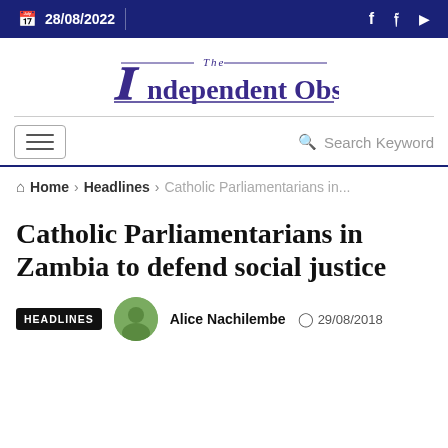28/08/2022
[Figure (logo): The Independent Observer newspaper logo in purple Gothic/blackletter font]
Home > Headlines > Catholic Parliamentarians in...
Catholic Parliamentarians in Zambia to defend social justice
HEADLINES   Alice Nachilembe   29/08/2018